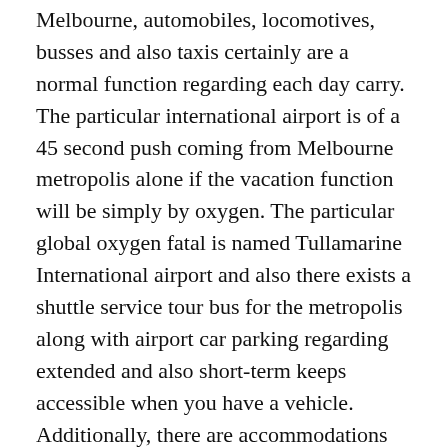Melbourne, automobiles, locomotives, busses and also taxis certainly are a normal function regarding each day carry. The particular international airport is of a 45 second push coming from Melbourne metropolis alone if the vacation function will be simply by oxygen. The particular global oxygen fatal is named Tullamarine International airport and also there exists a shuttle service tour bus for the metropolis along with airport car parking regarding extended and also short-term keeps accessible when you have a vehicle. Additionally, there are accommodations and also rentals neighborhood regarding hassle-free stopovers. Inside the metropolis hub, any Metropolis Eliptical Tram works non-stop regarding travellers planning to investigate the particular outskirts with the wonderful key metropolis at no cost. It is a favorite and also pleasurable action for anyone not used to town the ones typically planning to travel in town